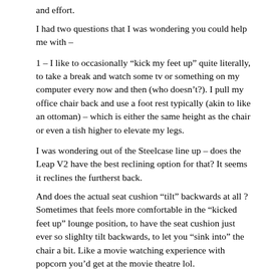and effort.
I had two questions that I was wondering you could help me with –
1 – I like to occasionally “kick my feet up” quite literally, to take a break and watch some tv or something on my computer every now and then (who doesn’t?). I pull my office chair back and use a foot rest typically (akin to like an ottoman) – which is either the same height as the chair or even a tish higher to elevate my legs.
I was wondering out of the Steelcase line up – does the Leap V2 have the best reclining option for that? It seems it reclines the furtherst back.
And does the actual seat cushion “tilt” backwards at all ? Sometimes that feels more comfortable in the “kicked feet up” lounge position, to have the seat cushion just ever so slighlty tilt backwards, to let you “sink into” the chair a bit. Like a movie watching experience with popcorn you’d get at the movie theatre lol.
With the ergonomic design of the Leap V2, and the tension give/pull recliner action – just wondering if you cam occasionally